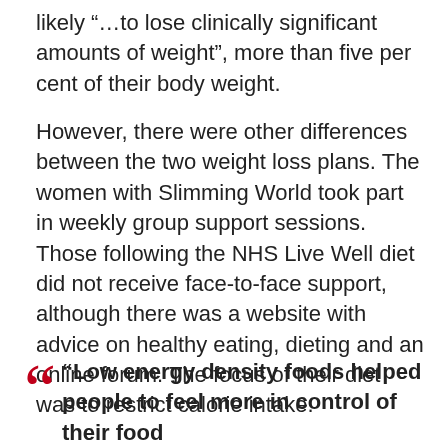likely “…to lose clinically significant amounts of weight”, more than five per cent of their body weight.
However, there were other differences between the two weight loss plans. The women with Slimming World took part in weekly group support sessions. Those following the NHS Live Well diet did not receive face-to-face support, although there was a website with advice on healthy eating, dieting and an online forum. The focus of their diet was to restrict calorie intake.
“Low energy density foods helped people to feel more in control of their food